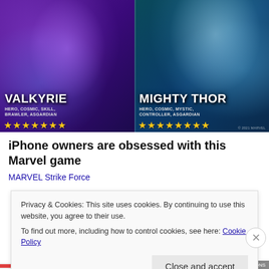[Figure (illustration): Marvel Strike Force game promotional image showing two characters: Valkyrie (left, with blue sword, tags: Hero, Cosmic, Skill, Brawler, Asgardian, 7 gold stars) and Mighty Thor (right, tags: Hero, Cosmic, Mystic, Controller, Asgardian, 8 gold stars). Dark purple and teal backgrounds. Copyright 2021 Marvel.]
iPhone owners are obsessed with this Marvel game
MARVEL Strike Force
Privacy & Cookies: This site uses cookies. By continuing to use this website, you agree to their use.
To find out more, including how to control cookies, see here: Cookie Policy
Close and accept